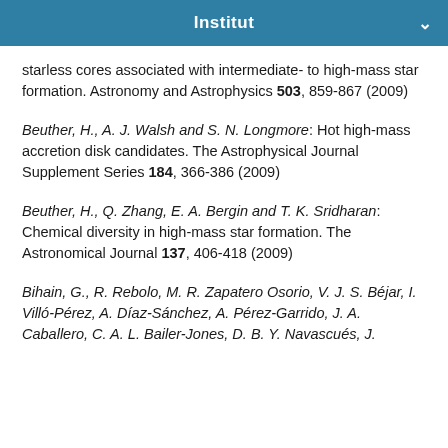Institut
starless cores associated with intermediate- to high-mass star formation. Astronomy and Astrophysics 503, 859-867 (2009)
Beuther, H., A. J. Walsh and S. N. Longmore: Hot high-mass accretion disk candidates. The Astrophysical Journal Supplement Series 184, 366-386 (2009)
Beuther, H., Q. Zhang, E. A. Bergin and T. K. Sridharan: Chemical diversity in high-mass star formation. The Astronomical Journal 137, 406-418 (2009)
Bihain, G., R. Rebolo, M. R. Zapatero Osorio, V. J. S. Béjar, I. Villó-Pérez, A. Díaz-Sánchez, A. Pérez-Garrido, J. A. Caballero, C. A. L. Bailer-Jones, D. B. Y. Navascués, J.